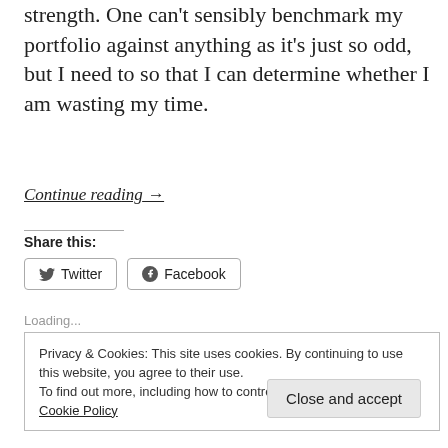strength. One can't sensibly benchmark my portfolio against anything as it's just so odd, but I need to so that I can determine whether I am wasting my time.
Continue reading →
Share this:
[Figure (other): Twitter and Facebook share buttons]
Loading...
Privacy & Cookies: This site uses cookies. By continuing to use this website, you agree to their use.
To find out more, including how to control cookies, see here: Cookie Policy
Close and accept